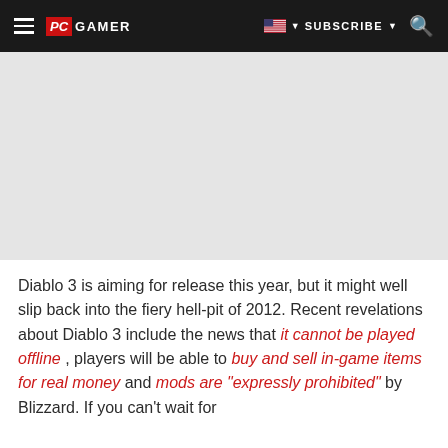PC GAMER | SUBSCRIBE
[Figure (other): Advertisement placeholder area, light gray background]
Diablo 3 is aiming for release this year, but it might well slip back into the fiery hell-pit of 2012. Recent revelations about Diablo 3 include the news that it cannot be played offline , players will be able to buy and sell in-game items for real money and mods are "expressly prohibited" by Blizzard. If you can't wait for